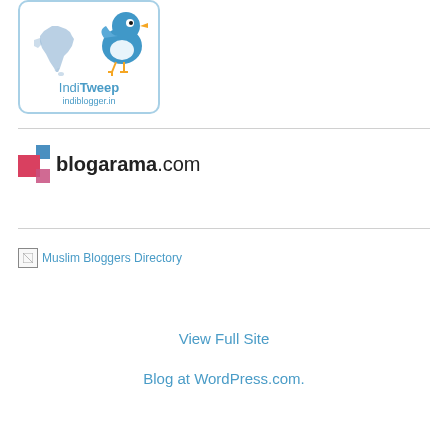[Figure (logo): IndiTweep logo from indiblogger.in — a rounded rectangle box with a Twitter bird on a map of India, with text 'IndiTweep' and 'indiblogger.in' below]
[Figure (logo): Blogarama.com logo — colorful overlapping squares icon next to text 'blogarama.com' in bold]
[Figure (logo): Muslim Bloggers Directory — broken image placeholder with alt text 'Muslim Bloggers Directory']
View Full Site
Blog at WordPress.com.